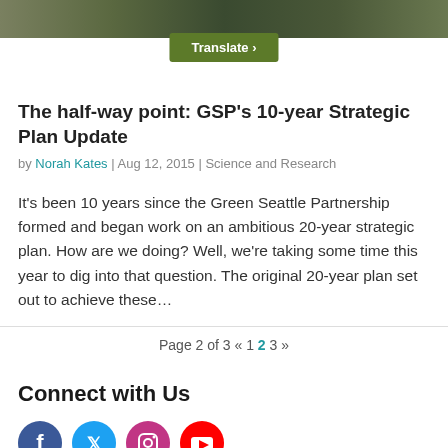[Figure (photo): Aerial city photo strip at top of page]
The half-way point: GSP's 10-year Strategic Plan Update
by Norah Kates | Aug 12, 2015 | Science and Research
It's been 10 years since the Green Seattle Partnership formed and began work on an ambitious 20-year strategic plan. How are we doing? Well, we're taking some time this year to dig into that question. The original 20-year plan set out to achieve these…
Page 2 of 3  «  1  2  3  »
Connect with Us